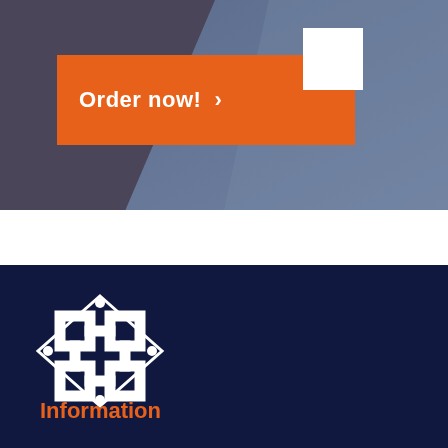[Figure (screenshot): Top section with dark purple-grey background and blue diagonal overlay panel. A small white rectangular card element appears overlapping the orange button.]
Order now! >
[Figure (logo): White geometric interconnected diamond/knot logo on dark navy background]
Information